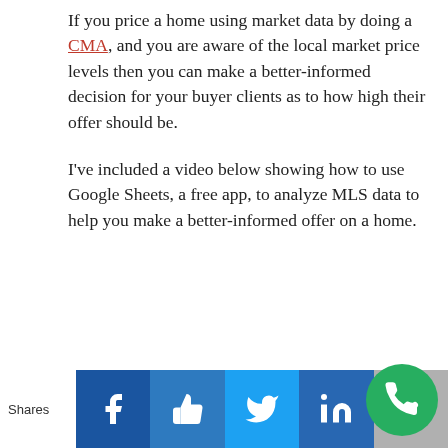If you price a home using market data by doing a CMA, and you are aware of the local market price levels then you can make a better-informed decision for your buyer clients as to how high their offer should be.
I've included a video below showing how to use Google Sheets, a free app, to analyze MLS data to help you make a better-informed offer on a home.
Shares | Facebook | Like | Twitter | LinkedIn | Email | Phone